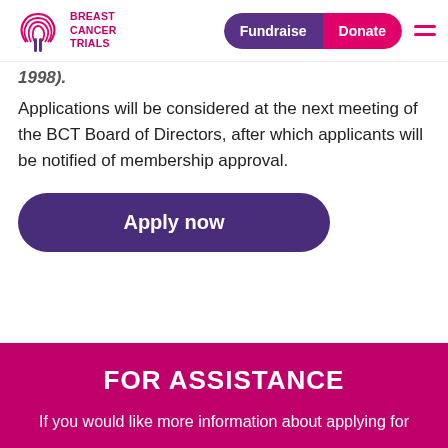[Figure (logo): Breast Cancer Trials logo with fingerprint motif in pink and purple, text reads BREAST CANCER TRIALS]
1998).
Applications will be considered at the next meeting of the BCT Board of Directors, after which applicants will be notified of membership approval.
[Figure (other): Apply now button — dark purple rounded rectangle]
FOR ASSISTANCE
If you would like more information about applying for